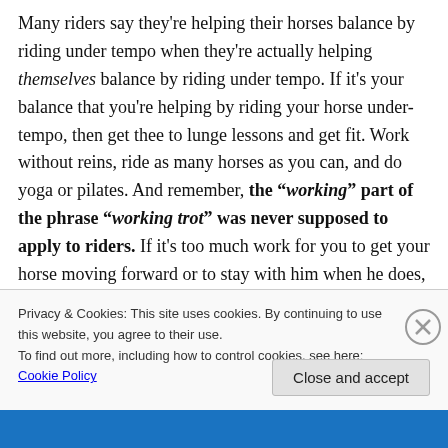Many riders say they're helping their horses balance by riding under tempo when they're actually helping themselves balance by riding under tempo.  If it's your balance that you're helping by riding your horse under-tempo, then get thee to lunge lessons and get fit.  Work without reins, ride as many horses as you can, and do yoga or pilates.  And remember, the "working" part of the phrase "working trot" was never supposed to apply to riders.  If it's too much work for you to get your horse moving forward or to stay with him when he does,
Privacy & Cookies: This site uses cookies. By continuing to use this website, you agree to their use.
To find out more, including how to control cookies, see here: Cookie Policy
Close and accept